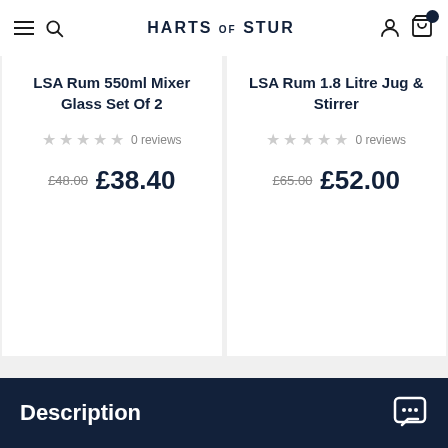HARTS OF STUR
LSA Rum 550ml Mixer Glass Set Of 2
★★★★★ 0 reviews
£48.00 £38.40
LSA Rum 1.8 Litre Jug & Stirrer
★★★★★ 0 reviews
£65.00 £52.00
Description